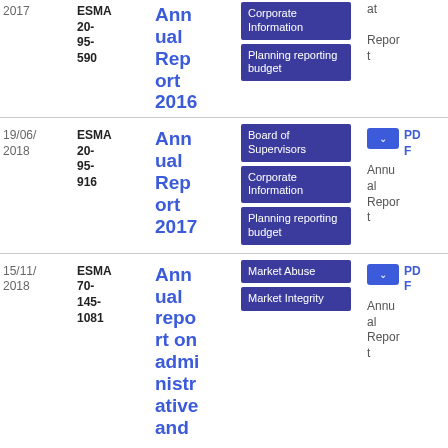| Date | Reference | Title | Tags | Document Type | File |
| --- | --- | --- | --- | --- | --- |
| 2017 | ESMA 20-95-590 | Annual Report 2016 | Corporate Information | Planning reporting budget | Annual Report | 2.94 MB |
| 19/06/2018 | ESMA 20-95-916 | Annual Report 2017 | Board of Supervisors | Corporate Information | Planning reporting budget | Annual Report | 10.77 MB |
| 15/11/2018 | ESMA 70-145-1081 | Annual report on administrative and... | Market Abuse | Market Integrity | Annual Report | 158.47 KB |